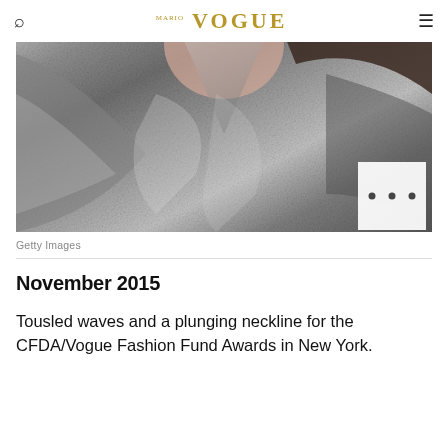VOGUE
[Figure (photo): Close-up photo of a person wearing a silver/metallic plunging neckline outfit with tousled dark hair]
Getty Images
November 2015
Tousled waves and a plunging neckline for the CFDA/Vogue Fashion Fund Awards in New York.